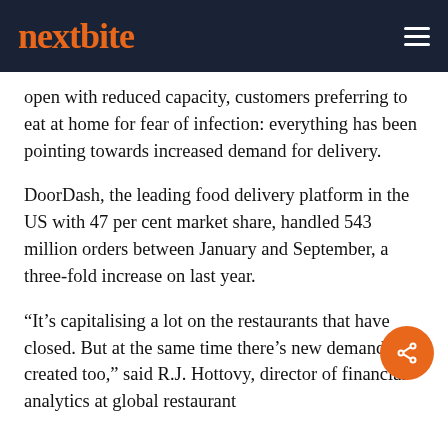nextbite
open with reduced capacity, customers preferring to eat at home for fear of infection: everything has been pointing towards increased demand for delivery.
DoorDash, the leading food delivery platform in the US with 47 per cent market share, handled 543 million orders between January and September, a three-fold increase on last year.
“It’s capitalising a lot on the restaurants that have closed. But at the same time there’s new demand created too,” said R.J. Hottovy, director of financial analytics at global restaurant